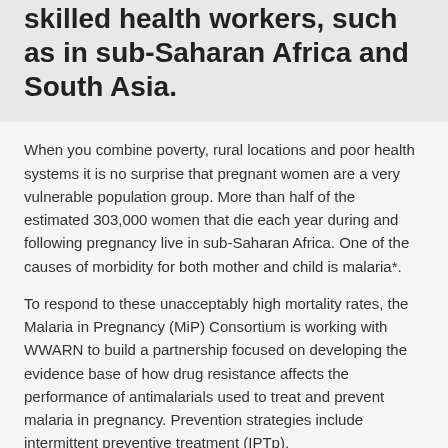skilled health workers, such as in sub-Saharan Africa and South Asia.
When you combine poverty, rural locations and poor health systems it is no surprise that pregnant women are a very vulnerable population group. More than half of the estimated 303,000 women that die each year during and following pregnancy live in sub-Saharan Africa. One of the causes of morbidity for both mother and child is malaria*.
To respond to these unacceptably high mortality rates, the Malaria in Pregnancy (MiP) Consortium is working with WWARN to build a partnership focused on developing the evidence base of how drug resistance affects the performance of antimalarials used to treat and prevent malaria in pregnancy. Prevention strategies include intermittent preventive treatment (IPTp),